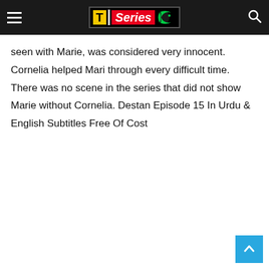T | Series
seen with Marie, was considered very innocent. Cornelia helped Mari through every difficult time. There was no scene in the series that did not show Marie without Cornelia. Destan Episode 15 In Urdu & English Subtitles Free Of Cost